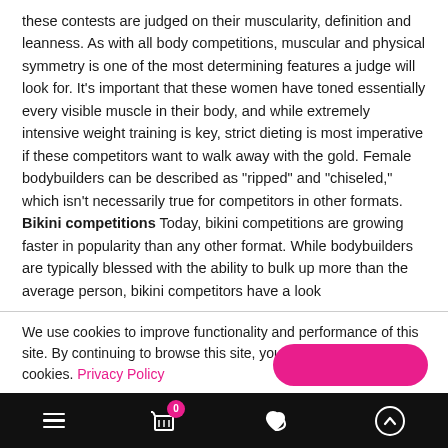these contests are judged on their muscularity, definition and leanness. As with all body competitions, muscular and physical symmetry is one of the most determining features a judge will look for. It's important that these women have toned essentially every visible muscle in their body, and while extremely intensive weight training is key, strict dieting is most imperative if these competitors want to walk away with the gold. Female bodybuilders can be described as "ripped" and "chiseled," which isn't necessarily true for competitors in other formats. Bikini competitions Today, bikini competitions are growing faster in popularity than any other format. While bodybuilders are typically blessed with the ability to bulk up more than the average person, bikini competitors have a look
We use cookies to improve functionality and performance of this site. By continuing to browse this site, you consent to the use of cookies. Privacy Policy
Navigation bar with menu, cart (0), heart, and scroll-up icons